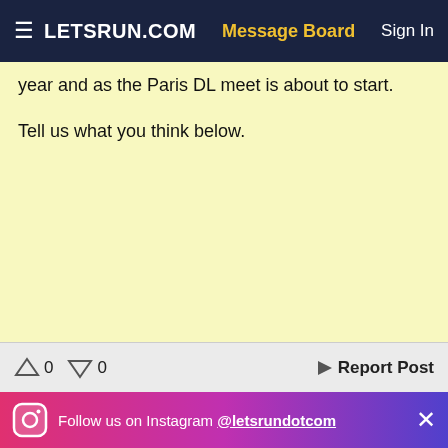≡ LETSRUN.COM   Message Board   Sign In
year and as the Paris DL meet is about to start.
Tell us what you think below.
↑ 0  ↓ 0   ◄ Report Post
Follow us on Instagram @letsrundotcom